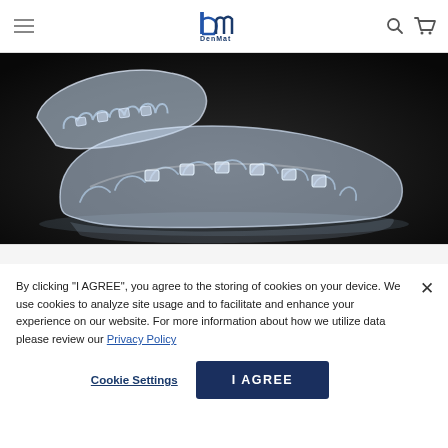DenMat
[Figure (photo): Close-up photo of a clear dental aligner/retainer on a dark background, showing teeth impressions and attachment points]
By clicking “I AGREE”, you agree to the storing of cookies on your device. We use cookies to analyze site usage and to facilitate and enhance your experience on our website. For more information about how we utilize data please review our Privacy Policy
Cookie Settings
I AGREE